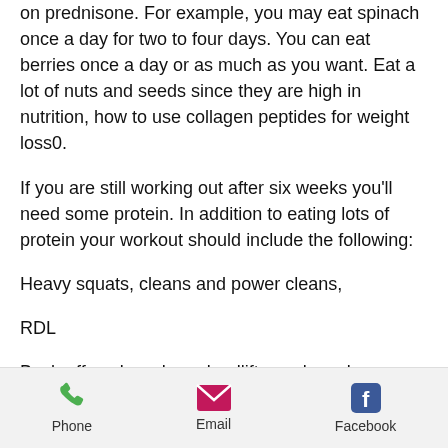on prednisone. For example, you may eat spinach once a day for two to four days. You can eat berries once a day or as much as you want. Eat a lot of nuts and seeds since they are high in nutrition, how to use collagen peptides for weight loss0.
If you are still working out after six weeks you'll need some protein. In addition to eating lots of protein your workout should include the following:
Heavy squats, cleans and power cleans,
RDL
Back-off work such as deadlifts, curls and rows,
Phone   Email   Facebook